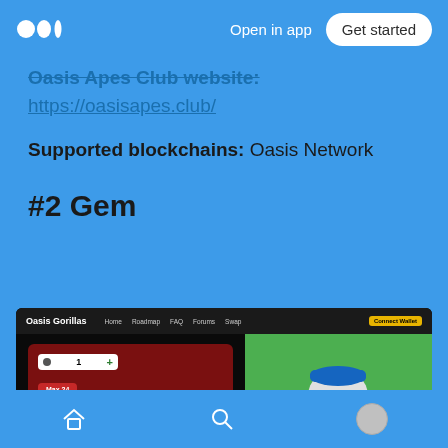Open in app | Get started
Oasis Apes Club website:
https://oasisapes.club/
Supported blockchains: Oasis Network
#2 Gem
[Figure (screenshot): Screenshot of Oasis Gorillas NFT minting website showing navigation bar with Home, Roadmap, FAQ, Forums, Swap, Connect Wallet links, a minting interface with cost 300 ROSE, Total Cost 0+GAS, Max 24 button, and a gorilla character illustration on green background]
Navigation: Home, Search, Profile